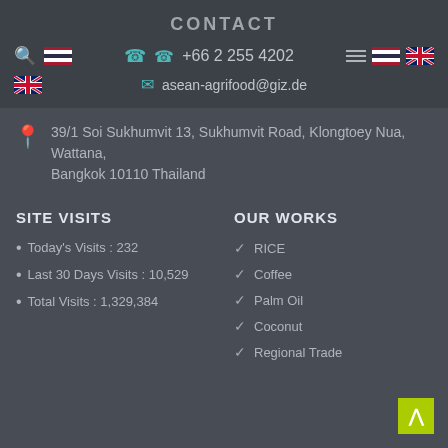CONTACT
+66 2 255 4202
asean-agrifood@giz.de
39/1 Soi Sukhumvit 13, Sukhumvit Road, Klongtoey Nua, Wattana, Bangkok 10110 Thailand
SITE VISITS
Today's Visits : 232
Last 30 Days Visits : 10,529
Total Visits : 1,329,384
OUR WORKS
RICE
Coffee
Palm Oil
Coconut
Regional Trade